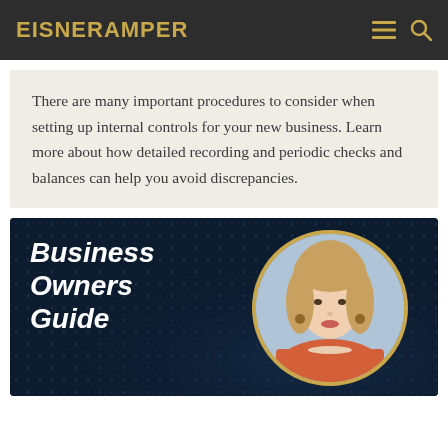EisnerAmper
There are many important procedures to consider when setting up internal controls for your new business. Learn more about how detailed recording and periodic checks and balances can help you avoid discrepancies.
[Figure (illustration): Business Owners Guide banner with dark navy background, italic bold white text reading 'Business Owners Guide' on the left, and a circular portrait photo of a woman with blonde hair wearing a red top and pearl necklace on the right, framed in a gold circle.]